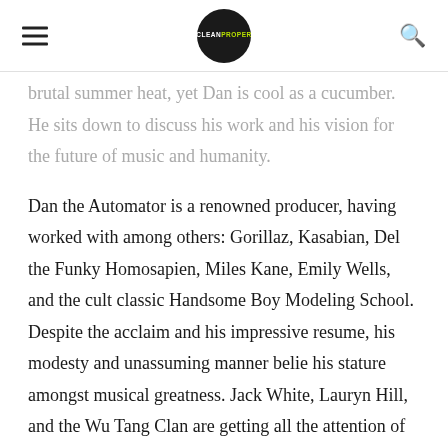CLEANPROPER (logo)
brutal summer heat, yet Dan is cool as a cucumber. He sits down to discuss his work and his vision for the future of music and humanity.
Dan the Automator is a renowned producer, having worked with among others: Gorillaz, Kasabian, Del the Funky Homosapien, Miles Kane, Emily Wells, and the cult classic Handsome Boy Modeling School. Despite the acclaim and his impressive resume, his modesty and unassuming manner belie his stature amongst musical greatness. Jack White, Lauryn Hill, and the Wu Tang Clan are getting all the attention of fans clamoring to touch fame. Dan sits outside the fray, and he is perfectly content. His position behind the scenes gives room for substantive conversations outside the glow of the spotlight.